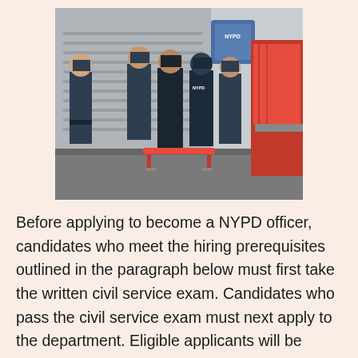[Figure (photo): NYPD officers and emergency medical personnel in black uniforms and masks surrounding a person on a stretcher near a red ambulance on an urban street, with a rolled-up metal shutter in the background.]
Before applying to become a NYPD officer, candidates who meet the hiring prerequisites outlined in the paragraph below must first take the written civil service exam. Candidates who pass the civil service exam must next apply to the department. Eligible applicants will be contacted to complete medical and psychological screenings, a